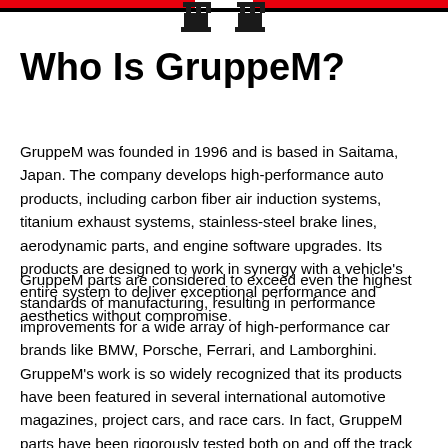[Figure (logo): GruppeM logo header with red and black horizontal bars and two stylized chess piece / trophy icons centered at the top]
Who Is GruppeM?
GruppeM was founded in 1996 and is based in Saitama, Japan. The company develops high-performance auto products, including carbon fiber air induction systems, titanium exhaust systems, stainless-steel brake lines, aerodynamic parts, and engine software upgrades. Its products are designed to work in synergy with a vehicle's entire system to deliver exceptional performance and aesthetics without compromise.
GruppeM parts are considered to exceed even the highest standards of manufacturing, resulting in performance improvements for a wide array of high-performance car brands like BMW, Porsche, Ferrari, and Lamborghini. GruppeM's work is so widely recognized that its products have been featured in several international automotive magazines, project cars, and race cars. In fact, GruppeM parts have been rigorously tested both on and off the track by a number of racing teams across different championships with impressive victories. It's no surprise that GruppeM is regarded as the premier aftermarket choice for air induction systems and high-performance exhausts.